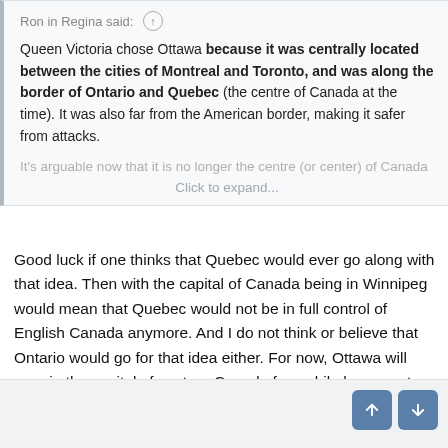Ron in Regina said: ↑
Queen Victoria chose Ottawa because it was centrally located between the cities of Montreal and Toronto, and was along the border of Ontario and Quebec (the centre of Canada at the time). It was also far from the American border, making it safer from attacks.
It's arguable now that it is no longer the centre (or center) of Canada
Click to expand...
Good luck if one thinks that Quebec would ever go along with that idea. Then with the capital of Canada being in Winnipeg would mean that Quebec would not be in full control of English Canada anymore. And I do not think or believe that Ontario would go for that idea either. For now, Ottawa will remain the capital of eastern Canada for awhile longer yet or until the west finally separates if it ever succeeds in trying to separate from Eastern Canada at all. 🤔
Dixie Cup